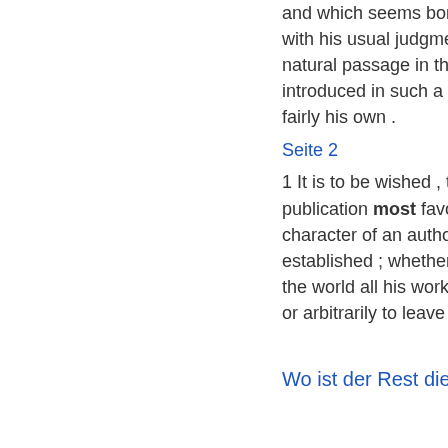and which seems borrowed by the latter with his usual judgment , it being the most natural passage in the old play ; and is introduced in such a manner as to make it fairly his own .
Seite 2
1 It is to be wished , that some method of publication most favourable to the character of an author were once established ; whether we are to fend into the world all his works without distinction , or arbitrarily to leave out what may ...
Weiter »
Wo ist der Rest dieses Buches?